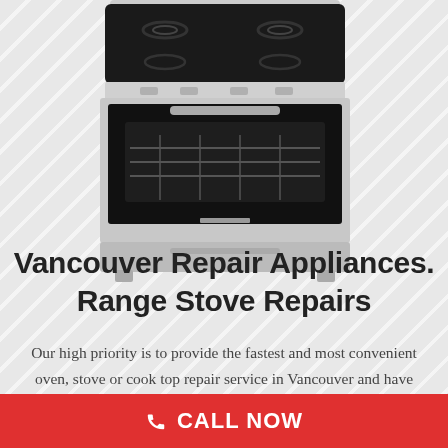[Figure (photo): A stainless steel electric range stove with black ceramic glass cooktop and oven with visible racks, photographed against a white background.]
Vancouver Repair Appliances. Range Stove Repairs
Our high priority is to provide the fastest and most convenient oven, stove or cook top repair service in Vancouver and have your household back to normal as
CALL NOW